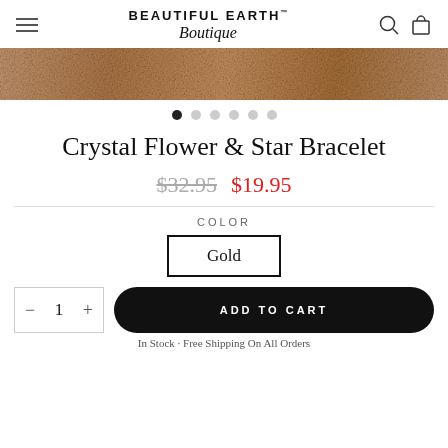BEAUTIFUL EARTH™ Boutique
[Figure (photo): Close-up of brown leather texture, used as product image banner]
• • • • • •  (carousel dots, first active)
Crystal Flower & Star Bracelet
$32.95  $19.95
COLOR
Gold
- 1 +   ADD TO CART
In Stock · Free Shipping On All Orders